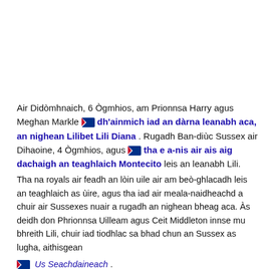Air Didòmhnaich, 6 Ògmhios, am Prionnsa Harry agus Meghan Markle 🏴 dh'ainmich iad an dàrna leanabh aca, an nighean Lilibet Lili Diana . Rugadh Ban-diùc Sussex air Dihaoine, 4 Ògmhios, agus 🏴 tha e a-nis air ais aig dachaigh an teaghlaich Montecito leis an leanabh Lili. Tha na royals air feadh an lòin uile air am beò-ghlacadh leis an teaghlaich as ùire, agus tha iad air meala-naidheachd a chuir air Sussexes nuair a rugadh an nighean bheag aca. Às deidh don Phrionnsa Uilleam agus Ceit Middleton innse mu bhreith Lili, chuir iad tiodhlac sa bhad chun an Sussex as lugha, aithisgean 🏴 Us Seachdaineach .
Subscribe to Cuairt-litir Braganca's Royals